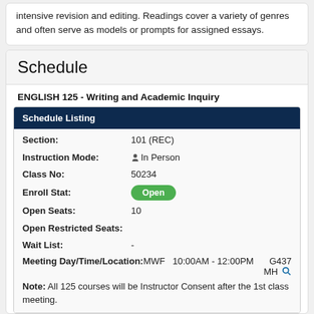intensive revision and editing. Readings cover a variety of genres and often serve as models or prompts for assigned essays.
Schedule
ENGLISH 125 - Writing and Academic Inquiry
| Field | Value |
| --- | --- |
| Section: | 101 (REC) |
| Instruction Mode: | In Person |
| Class No: | 50234 |
| Enroll Stat: | Open |
| Open Seats: | 10 |
| Open Restricted Seats: |  |
| Wait List: | - |
| Meeting Day/Time/Location: | MWF  10:00AM - 12:00PM  G437 MH |
| Note: | All 125 courses will be Instructor Consent after the 1st class meeting. |